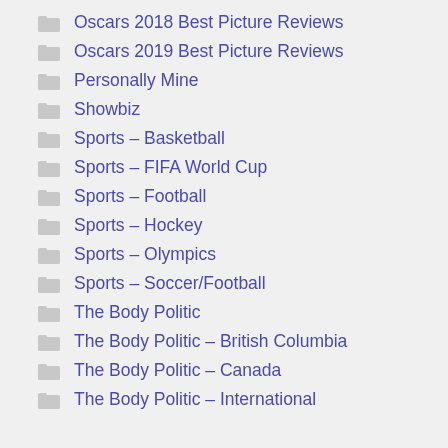Oscars 2018 Best Picture Reviews
Oscars 2019 Best Picture Reviews
Personally Mine
Showbiz
Sports – Basketball
Sports – FIFA World Cup
Sports – Football
Sports – Hockey
Sports – Olympics
Sports – Soccer/Football
The Body Politic
The Body Politic – British Columbia
The Body Politic – Canada
The Body Politic – International